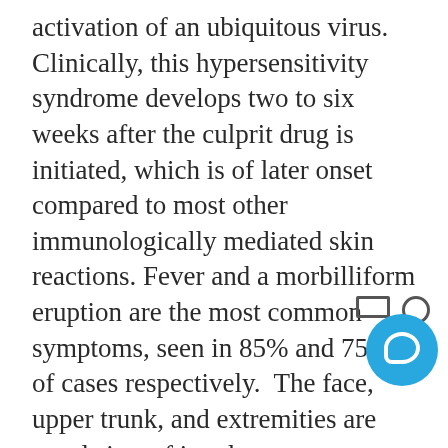activation of an ubiquitous virus. Clinically, this hypersensitivity syndrome develops two to six weeks after the culprit drug is initiated, which is of later onset compared to most other immunologically mediated skin reactions. Fever and a morbilliform eruption are the most common symptoms, seen in 85% and 75% of cases respectively. The face, upper trunk, and extremities are usual sites of involvement. Vesicles, tense bullae, pustules, erythroderma and purpuric lesions can also be seen. In one study by Chen et al involving DRESS subjects close to half of all patients were reported to have lesions involving at least one mucosal area, always affecting the oral mucosa. The liver is the most common visceral organ involved with a fulminant hepatitis being the major cause of death in this